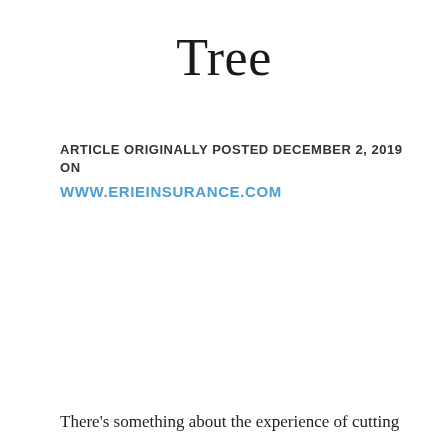Tree
ARTICLE ORIGINALLY POSTED DECEMBER 2, 2019 ON
WWW.ERIEINSURANCE.COM
There's something about the experience of cutting